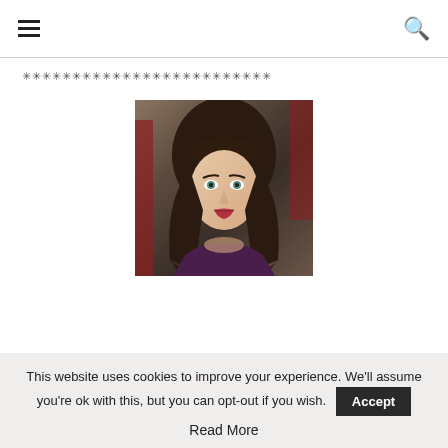☰ [menu icon] [search icon]
✳✳✳✳✳✳✳✳✳✳✳✳✳✳✳✳✳✳✳✳✳✳✳✳✳
[Figure (photo): Portrait photo of a young woman with long dark brown hair with bangs, wearing teal earrings, red lipstick, and a dark purple top, photographed against a blurred red background.]
This website uses cookies to improve your experience. We'll assume you're ok with this, but you can opt-out if you wish. Accept
Read More